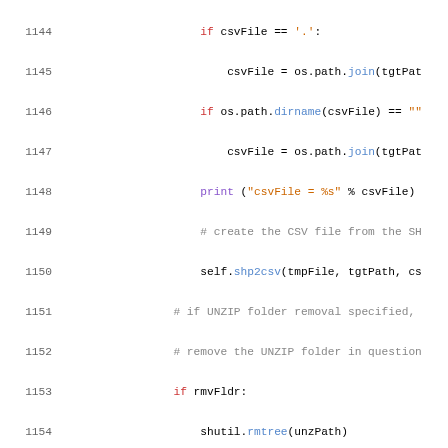[Figure (screenshot): Python source code lines 1144-1166 showing file handling and ZIP/SHP/CSV conversion methods]